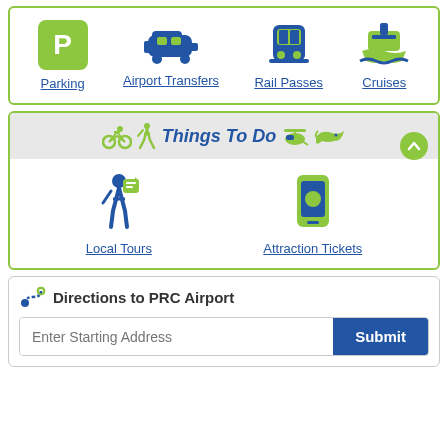[Figure (infographic): Navigation icons row: Parking (green P icon), Airport Transfers (blue van icon), Rail Passes (blue train icon), Cruises (green ship icon), each with underlined blue label links]
Things To Do
[Figure (infographic): Two icon links: Local Tours (blue person with flag icon) and Attraction Tickets (green mobile phone icon)]
Directions to PRC Airport
Enter Starting Address
Submit